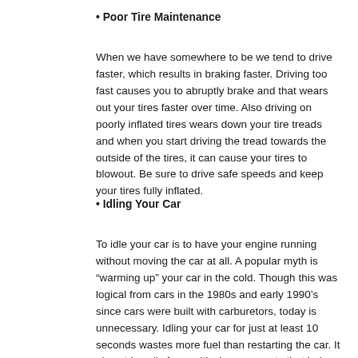• Poor Tire Maintenance
When we have somewhere to be we tend to drive faster, which results in braking faster. Driving too fast causes you to abruptly brake and that wears out your tires faster over time. Also driving on poorly inflated tires wears down your tire treads and when you start driving the tread towards the outside of the tires, it can cause your tires to blowout. Be sure to drive safe speeds and keep your tires fully inflated.
• Idling Your Car
To idle your car is to have your engine running without moving the car at all. A popular myth is “warming up” your car in the cold. Though this was logical from cars in the 1980s and early 1990’s since cars were built with carburetors, today is unnecessary. Idling your car for just at least 10 seconds wastes more fuel than restarting the car. It also strips oils from critical components that help run the engine.